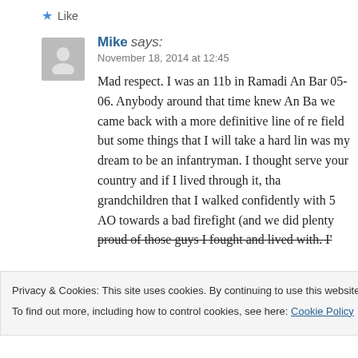★ Like
Mike says:
November 18, 2014 at 12:45
Mad respect. I was an 11b in Ramadi An Bar 05-06. Anybody around that time knew An Ba we came back with a more definitive line of re field but some things that I will take a hard lin was my dream to be an infantryman. I thought serve your country and if I lived through it, tha grandchildren that I walked confidently with 5 AO towards a bad firefight (and we did plenty proud of those guys I fought and lived with. I'
Privacy & Cookies: This site uses cookies. By continuing to use this website, you agree to their use.
To find out more, including how to control cookies, see here: Cookie Policy
Close and accept